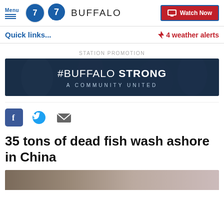Menu | 7 WKBW BUFFALO | Watch Now
Quick links...
⚡ 4 weather alerts
STATION PROMOTION
[Figure (illustration): #BUFFALO STRONG - A COMMUNITY UNITED promotional banner with dark blue background and crowd imagery]
[Figure (infographic): Social share icons: Facebook, Twitter, Email]
35 tons of dead fish wash ashore in China
[Figure (photo): Partial photo of dead fish, cropped at bottom of page]